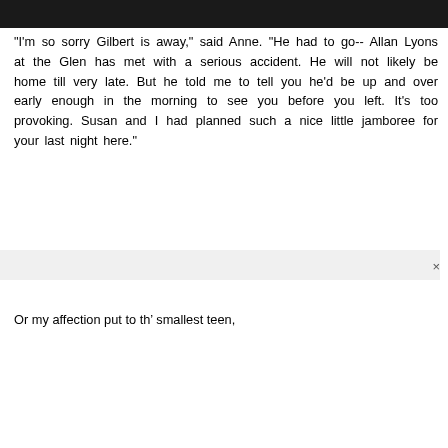"I'm so sorry Gilbert is away," said Anne. "He had to go-- Allan Lyons at the Glen has met with a serious accident. He will not likely be home till very late. But he told me to tell you he'd be up and over early enough in the morning to see you before you left. It's too provoking. Susan and I had planned such a nice little jamboree for your last night here."
&#;
Or my affection put to th’ smallest teen,